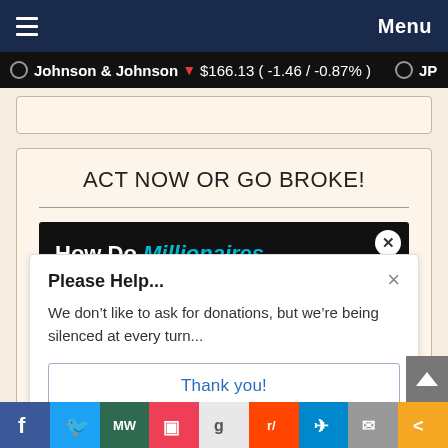Menu
Johnson & Johnson ▼ $166.13 ( -1.46 / -0.87% )   ○ JPM
ACT NOW OR GO BROKE!
[Figure (screenshot): Ad banner with dark background showing headline 'How Do Millionaires Invest Their Money?' with 'Millionaires' in cyan text, and a close button.]
Please Help...
We don't like to ask for donations, but we're being silenced at every turn...
Thank you!
f  Twitter  MW  Pocket  g  Reddit  Telegram  Email  Share